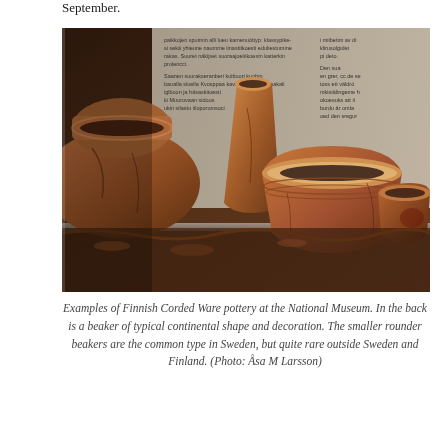September.
[Figure (photo): Museum display case showing several ancient Finnish Corded Ware pottery vessels of varying sizes and shapes, with informational placard text visible in the background. The pottery includes larger jars, a wide bowl, and a smaller cup, all in earthy reddish-brown tones.]
Examples of Finnish Corded Ware pottery at the National Museum. In the back is a beaker of typical continental shape and decoration. The smaller rounder beakers are the common type in Sweden, but quite rare outside Sweden and Finland. (Photo: Åsa M Larsson)